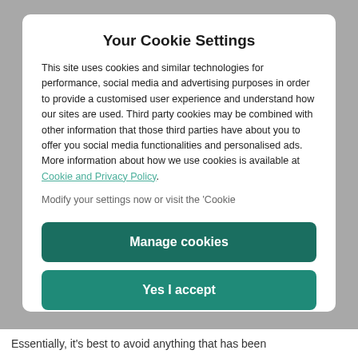Your Cookie Settings
This site uses cookies and similar technologies for performance, social media and advertising purposes in order to provide a customised user experience and understand how our sites are used. Third party cookies may be combined with other information that those third parties have about you to offer you social media functionalities and personalised ads. More information about how we use cookies is available at Cookie and Privacy Policy. Modify your settings now or visit the ‘Cookie
Manage cookies
Yes I accept
Essentially, it’s best to avoid anything that has been